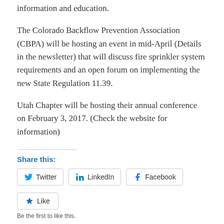information and education.
The Colorado Backflow Prevention Association (CBPA) will be hosting an event in mid-April (Details in the newsletter) that will discuss fire sprinkler system requirements and an open forum on implementing the new State Regulation 11.39.
Utah Chapter will be hosting their annual conference on February 3, 2017. (Check the website for information)
Share this:
Twitter  LinkedIn  Facebook
Like
Be the first to like this.